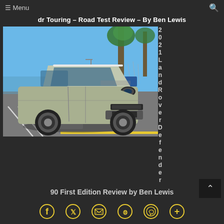≡ Menu  [search icon]
dr Touring – Road Test Review – By Ben Lewis
[Figure (photo): 2021 Land Rover Defender 90 SUV parked in a parking lot with palm trees and blue sky in background]
2021 Land Rover Defender
90 First Edition Review by Ben Lewis
Social sharing icons: Facebook, Twitter, Email, Pinterest, WhatsApp, More